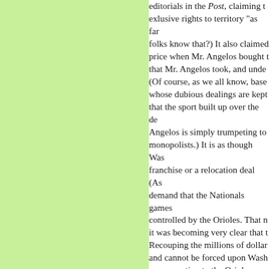editorials in the Post, claiming that they had exclusive rights to territory "as far as..." (Do folks know that?) It also claimed the purchase price when Mr. Angelos bought the team, and that that Mr. Angelos took, and understand... (Of course, as we all know, baseball is a sport whose dubious dealings are kept secret, and that the sport built up over the decades... Angelos is simply trumpeting to all monopolists.) It is as though Washington got a franchise or a relocation deal (As...) to demand that the Nationals games be TV controlled by the Orioles. That makes sense it was becoming very clear that the Orioles... Recouping the millions of dollars... and cannot be forced upon Washington... compensation to the Orioles would... franchise owners by his no-comp... revenues. He has created his own... many other things to worry about... Thomas Boswell aptly dissects the... it to say that he is not winning the... Washington. I was really looking... this spring, but it looks like I'll h...